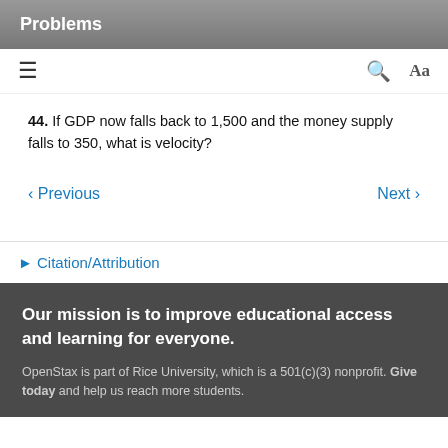Problems
44. If GDP now falls back to 1,500 and the money supply falls to 350, what is velocity?
< Previous   Next >
▶ Citation/Attribution
Our mission is to improve educational access and learning for everyone.
OpenStax is part of Rice University, which is a 501(c)(3) nonprofit. Give today and help us reach more students.